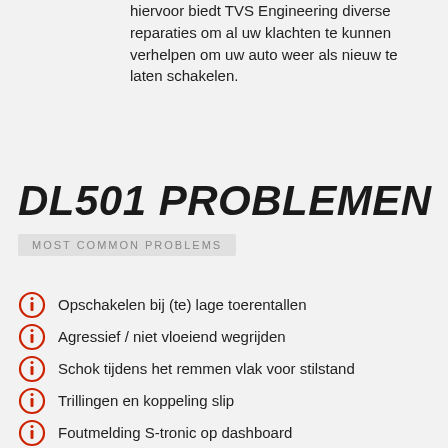hiervoor biedt TVS Engineering diverse reparaties om al uw klachten te kunnen verhelpen om uw auto weer als nieuw te laten schakelen.
DL501 PROBLEMEN
MOST COMMON PROBLEMS
Opschakelen bij (te) lage toerentallen
Agressief / niet vloeiend wegrijden
Schok tijdens het remmen vlak voor stilstand
Trillingen en koppeling slip
Foutmelding S-tronic op dashboard
Voertuig rijdt niet meer